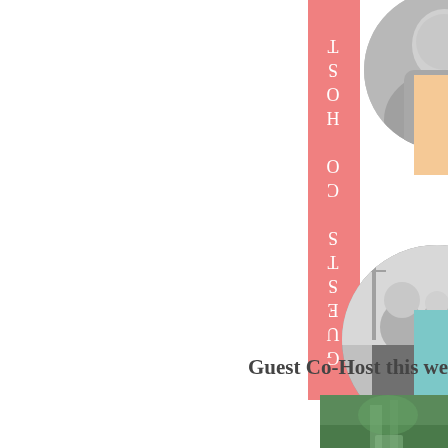[Figure (photo): Circular grayscale portrait photo of a person (partially cropped at top), positioned in upper right area]
[Figure (other): Pink vertical banner with white text reading 'GUESTS CO-HOST' in vertical orientation]
[Figure (photo): Circular grayscale family portrait photo showing a woman, man, and child smiling outdoors]
Guest Co-Host this week, K
[Figure (photo): Partial landscape/outdoor photo visible at lower portion of page, showing greenery/pathway]